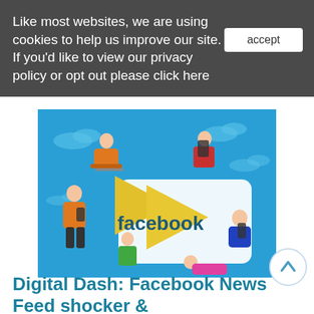Like most websites, we are using cookies to help us improve our site. If you'd like to view our privacy policy or opt out please click here
accept
[Figure (illustration): Illustration of people using devices around a large Facebook logo with play button icons on a blue background with clouds]
Digital Dash: Facebook News Feed shocker &